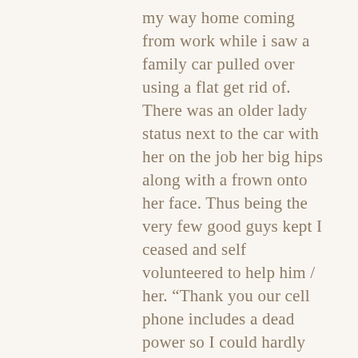my way home coming from work while i saw a family car pulled over using a flat get rid of. There was an older lady status next to the car with her on the job her big hips along with a frown onto her face. Thus being the very few good guys kept I ceased and self volunteered to help him / her. “Thank you our cell phone includes a dead power so I could hardly even phone anyone. “No problem it should not take to extensive to change the tire.
It took us about 15 minutes to swap her stress. She acquired one of those momentary spare trolley wheels, I dislike those things. My partner and i suggested which she find her serious tire repaired as soon as possible your woman asked wheresoever so I advisable a get rid of shop that I use.